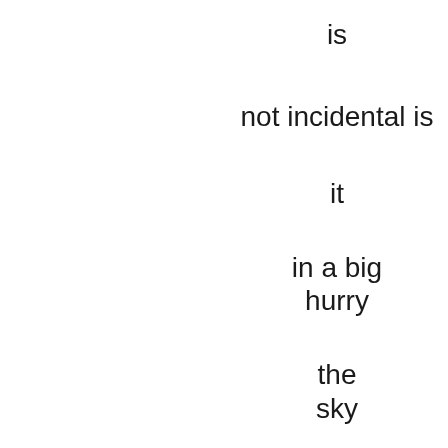is

not incidental is

it

in a big hurry

the sky

filled me

in like there like